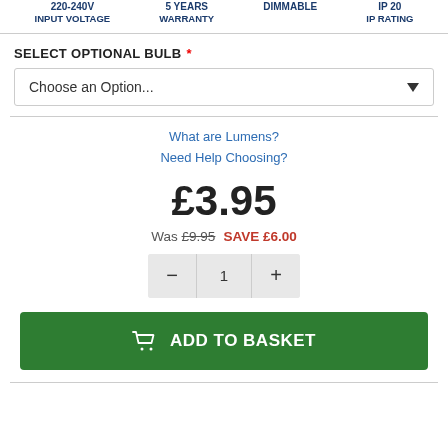220-240V INPUT VOLTAGE | 5 Years WARRANTY | Dimmable | IP20 IP RATING
SELECT OPTIONAL BULB *
Choose an Option...
What are Lumens?
Need Help Choosing?
£3.95
Was £9.95  SAVE £6.00
1
ADD TO BASKET